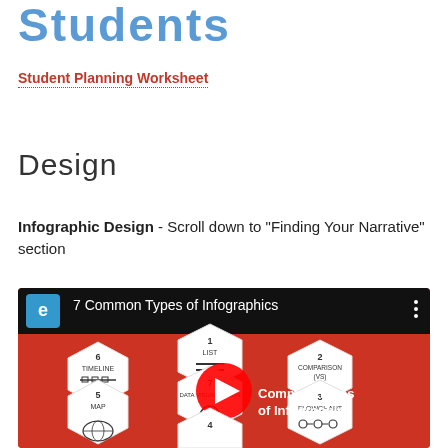Students
Student Planning Worksheet
Design
Infographic Design - Scroll down to "Finding Your Narrative" section
[Figure (screenshot): YouTube video thumbnail showing '7 Common Types of Infographics' with a red background and hexagonal icons for List, Comparison (VS), Timeline, Data Visualization, Map, Flowchart, and other types. YouTube play button overlay visible.]